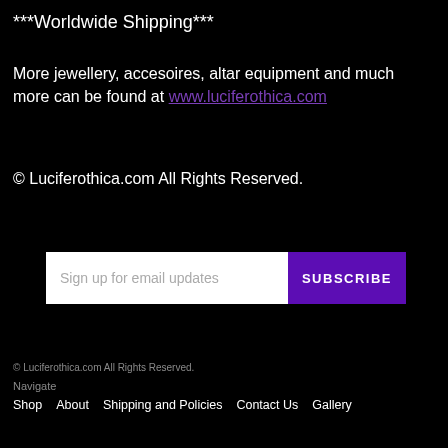***Worldwide Shipping***
More jewellery, accesoires, altar equipment and much more can be found at www.luciferothica.com
© Luciferothica.com All Rights Reserved.
[Figure (other): Email subscription form with text input 'Sign up for email updates' and purple SUBSCRIBE button]
© Luciferothica.com All Rights Reserved.
Navigate
Shop   About   Shipping and Policies   Contact Us   Gallery